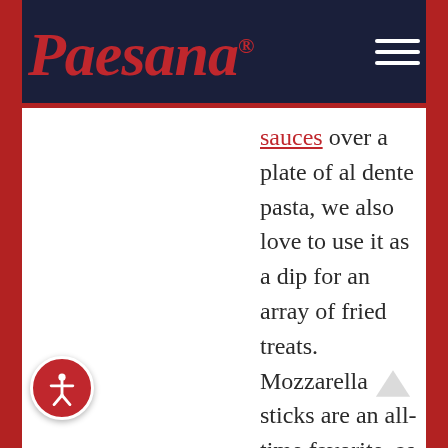Paesana
sauces over a plate of al dente pasta, we also love to use it as a dip for an array of fried treats. Mozzarella sticks are an all-time favorite, as are fried zucchini sticks, fried calamari, and even fried ravioli. Dusted with breadcrumbs and Italian seasoning, these deep-fried delights are a hot and crisp way to get everyone in the mood to eat! As for which...